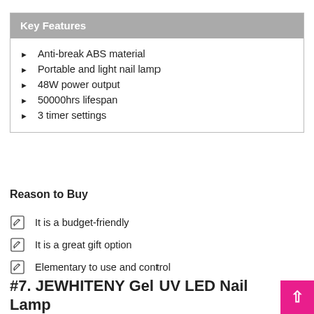Anti-break ABS material
Portable and light nail lamp
48W power output
50000hrs lifespan
3 timer settings
Reason to Buy
It is a budget-friendly
It is a great gift option
Elementary to use and control
#7. JEWHITENY Gel UV LED Nail Lamp